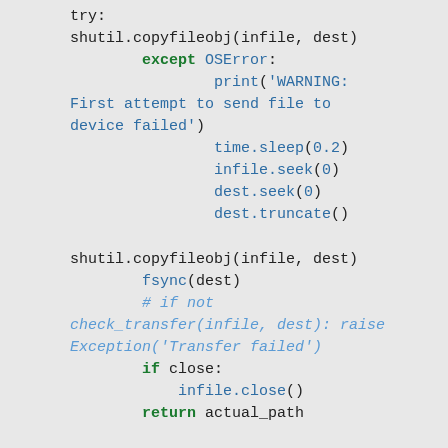shutil.copyfileobj(infile, dest)
        except OSError:
                print('WARNING: First attempt to send file to device failed')
                time.sleep(0.2)
                infile.seek(0)
                dest.seek(0)
                dest.truncate()

shutil.copyfileobj(infile, dest)
        fsync(dest)
        # if not check_transfer(infile, dest): raise Exception('Transfer failed')
        if close:
            infile.close()
        return actual_path

    def munge_path(self, path):
        if path.startswith('/') and